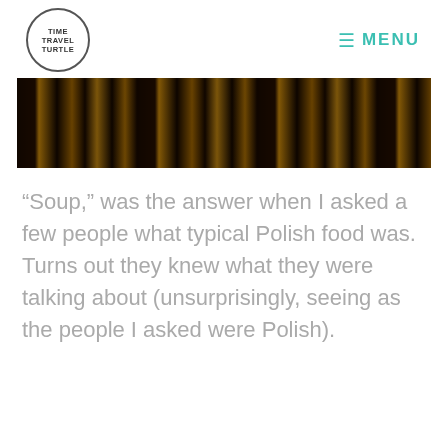TIME TRAVEL TURTLE | MENU
[Figure (photo): Close-up photo of food items, likely pierogies or dumplings with golden-brown coloring against a dark background.]
“Soup,” was the answer when I asked a few people what typical Polish food was. Turns out they knew what they were talking about (unsurprisingly, seeing as the people I asked were Polish).